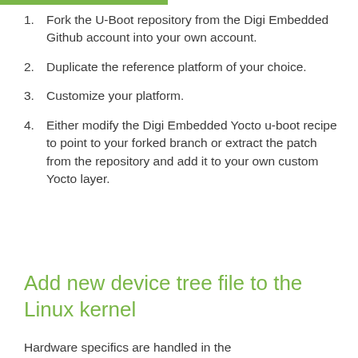1. Fork the U-Boot repository from the Digi Embedded Github account into your own account.
2. Duplicate the reference platform of your choice.
3. Customize your platform.
4. Either modify the Digi Embedded Yocto u-boot recipe to point to your forked branch or extract the patch from the repository and add it to your own custom Yocto layer.
Add new device tree file to the Linux kernel
Hardware specifics are handled in the